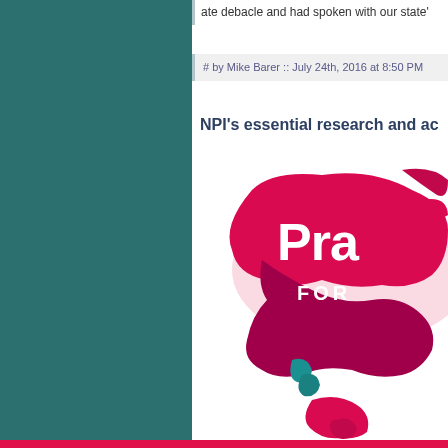ate debacle and had spoken with our state'
# by Mike Barer :: July 24th, 2016 at 8:50 PM
NPI's essential research and ac
[Figure (logo): Partial logo showing 'Pra' text in white on a magenta/pink paint splash background, with 'FOR' text below in white, world map illustration in pink and teal]